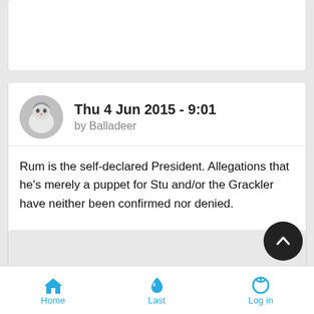[Figure (screenshot): Partial top card - truncated forum post card at the top of the page]
Thu 4 Jun 2015 - 9:01
by Balladeer
Rum is the self-declared President. Allegations that he's merely a puppet for Stu and/or the Grackler have neither been confirmed nor denied.
Tue 9 Jun 2015 - 7:40
by ZeroJones
I think we might have a run of 'naughty' taglines, starting w today's. 😈
Home   Last   Log in